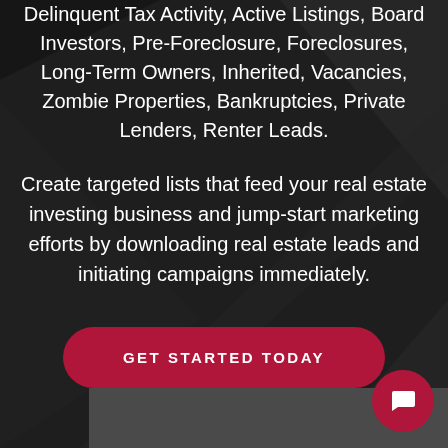Delinquent Tax Activity, Active Listings, Board Investors, Pre-Foreclosure, Foreclosures, Long-Term Owners, Inherited, Vacancies, Zombie Properties, Bankruptcies, Private Lenders, Renter Leads.
Create targeted lists that feed your real estate investing business and jump-start marketing efforts by downloading real estate leads and initiating campaigns immediately.
[Figure (other): A large rounded red button with white uppercase text reading 'GET STARTED TODAY' on a dark background.]
[Figure (other): A red circular chat bubble icon in the bottom-right corner of the page, with a white speech bubble icon inside it.]